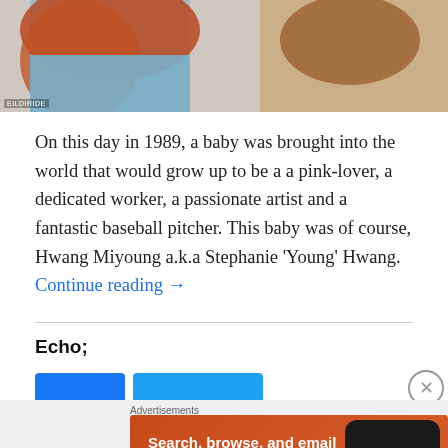[Figure (photo): Photo of a woman with long red/auburn hair wearing a blue top, partial view cropped at top of page. Watermark 'EILDIRIDE' visible at bottom left.]
On this day in 1989, a baby was brought into the world that would grow up to be a a pink-lover, a dedicated worker, a passionate artist and a fantastic baseball pitcher. This baby was of course, Hwang Miyoung a.k.a Stephanie 'Young' Hwang. Continue reading →
Echo;
[Figure (screenshot): DuckDuckGo advertisement banner with orange background. Text reads 'Search, browse, and email with more privacy. All in One Free App' with a phone mockup showing the DuckDuckGo app and logo.]